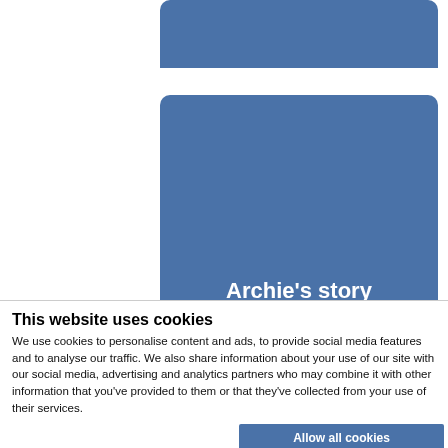[Figure (screenshot): Blue rounded banner at top of page, partially visible]
Archie's story
This website uses cookies
We use cookies to personalise content and ads, to provide social media features and to analyse our traffic. We also share information about your use of our site with our social media, advertising and analytics partners who may combine it with other information that you've provided to them or that they've collected from your use of their services.
Allow all cookies
Allow selection
Use necessary cookies only
Necessary  Preferences  Statistics  Marketing  Show details